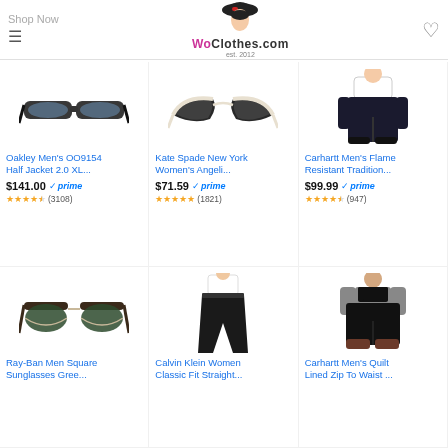Shop Now / WoClothes.com est. 2012
[Figure (photo): Oakley Men's half-jacket sunglasses black]
Oakley Men's OO9154 Half Jacket 2.0 XL...
$141.00 prime (3108)
[Figure (photo): Kate Spade cat-eye sunglasses black]
Kate Spade New York Women's Angeli...
$71.59 prime (1821)
[Figure (photo): Carhartt Men's Flame Resistant overalls]
Carhartt Men's Flame Resistant Tradition...
$99.99 prime (947)
[Figure (photo): Ray-Ban Men square sunglasses green]
Ray-Ban Men Square Sunglasses Gree...
[Figure (photo): Calvin Klein Women Classic Fit Straight pants]
Calvin Klein Women Classic Fit Straight...
[Figure (photo): Carhartt Men's Quilt Lined Zip To Waist overalls]
Carhartt Men's Quilt Lined Zip To Waist ...